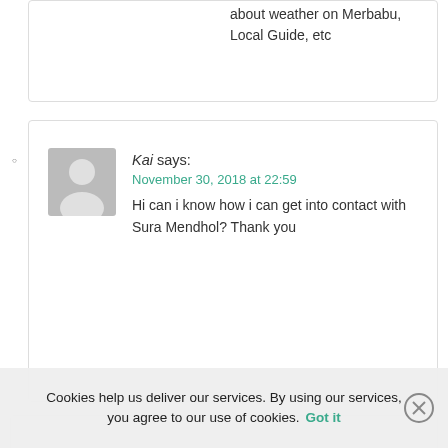about weather on Merbabu, Local Guide, etc
Kai says:
November 30, 2018 at 22:59
Hi can i know how i can get into contact with Sura Mendhol? Thank you
Reply
Cookies help us deliver our services. By using our services, you agree to our use of cookies. Got it